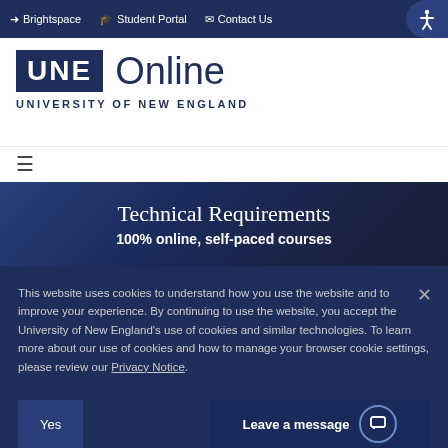➜ Brightspace  🎓 Student Portal  ✉ Contact Us
[Figure (logo): UNE Online University of New England logo with dark blue UNE box and hamburger menu]
Technical Requirements
100% online, self-paced courses
This website uses cookies to understand how you use the website and to improve your experience. By continuing to use the website, you accept the University of New England's use of cookies and similar technologies. To learn more about our use of cookies and how to manage your browser cookie settings, please review our Privacy Notice.
Yes
Leave a message